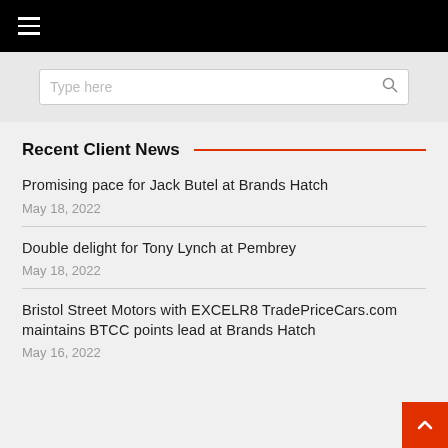≡ (hamburger menu)
Type here (search bar)
Recent Client News
Promising pace for Jack Butel at Brands Hatch
May 18, 2022
Double delight for Tony Lynch at Pembrey
May 18, 2022
Bristol Street Motors with EXCELR8 TradePriceCars.com maintains BTCC points lead at Brands Hatch
May 16, 2022